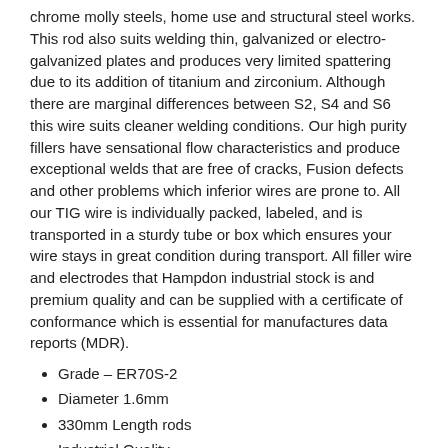chrome molly steels, home use and structural steel works. This rod also suits welding thin, galvanized or electro-galvanized plates and produces very limited spattering due to its addition of titanium and zirconium. Although there are marginal differences between S2, S4 and S6 this wire suits cleaner welding conditions. Our high purity fillers have sensational flow characteristics and produce exceptional welds that are free of cracks, Fusion defects and other problems which inferior wires are prone to. All our TIG wire is individually packed, labeled, and is transported in a sturdy tube or box which ensures your wire stays in great condition during transport. All filler wire and electrodes that Hampdon industrial stock is and premium quality and can be supplied with a certificate of conformance which is essential for manufactures data reports (MDR).
Grade – ER70S-2
Diameter 1.6mm
330mm Length rods
Industrial Quality
(s2-1.6)